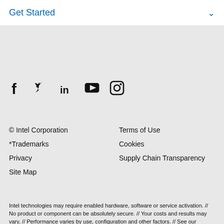Get Started
[Figure (other): Social media icons: Facebook, Twitter, LinkedIn, YouTube, Instagram]
© Intel Corporation
Terms of Use
*Trademarks
Cookies
Privacy
Supply Chain Transparency
Site Map
Intel technologies may require enabled hardware, software or service activation. // No product or component can be absolutely secure. // Your costs and results may vary. // Performance varies by use, configuration and other factors. // See our complete legal Notices and Disclaimers. // Intel is committed to respecting human rights and avoiding complicity in human rights abuses. See Intel's Global Human Rights Principles. Intel's products and software are intended only to be used in applications that do not cause or